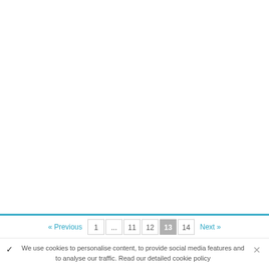« Previous  1  ...  11  12  13  14  Next »
✓  We use cookies to personalise content, to provide social media features and to analyse our traffic. Read our detailed cookie policy  ✕